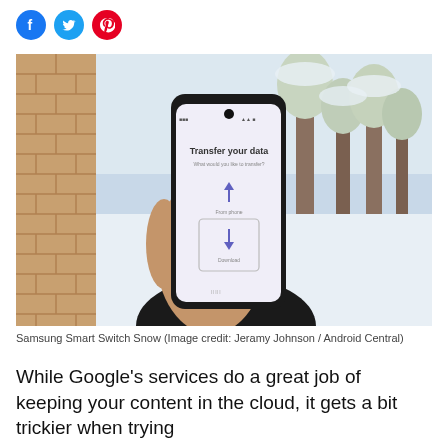[Figure (other): Three social media icon circles: Facebook (blue), Twitter (light blue), Pinterest (red)]
[Figure (photo): A hand holding a Samsung Galaxy smartphone displaying 'Transfer your data' screen with upload and download icons, photographed outdoors in a snowy winter setting with snow-covered trees and brick wall in background.]
Samsung Smart Switch Snow (Image credit: Jeramy Johnson / Android Central)
While Google's services do a great job of keeping your content in the cloud, it gets a bit trickier when trying